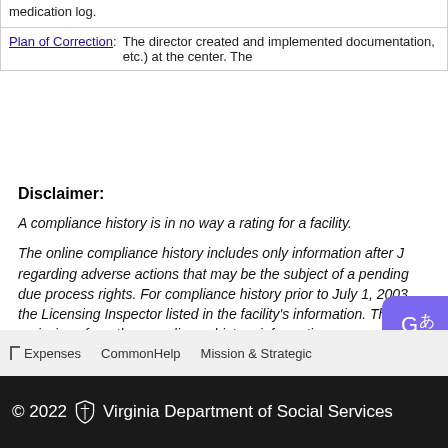| medication log. |
| Plan of Correction: | The director created and implemented documentation, etc.) at the center. The |
Disclaimer:
A compliance history is in no way a rating for a facility.
The online compliance history includes only information after J regarding adverse actions that may be the subject of a pending due process rights. For compliance history prior to July 1, 2003 the Licensing Inspector listed in the facility's information. The V or omissions from the compliance history information.
Virginia Quality is a voluntary quality rating and improvement sy pre-K. To find programs participating in Virginia Quality, click he
Expenses   CommonHelp   Mission & Strategic
© 2022 Virginia Department of Social Services